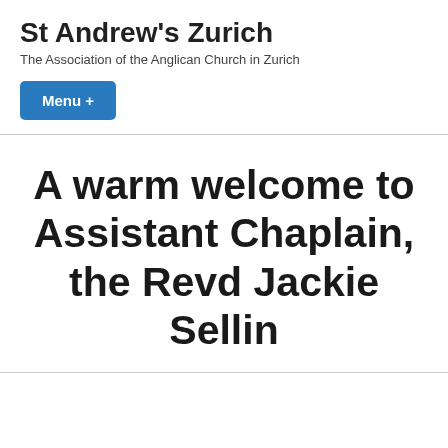St Andrew's Zurich
The Association of the Anglican Church in Zurich
Menu +
A warm welcome to Assistant Chaplain, the Revd Jackie Sellin